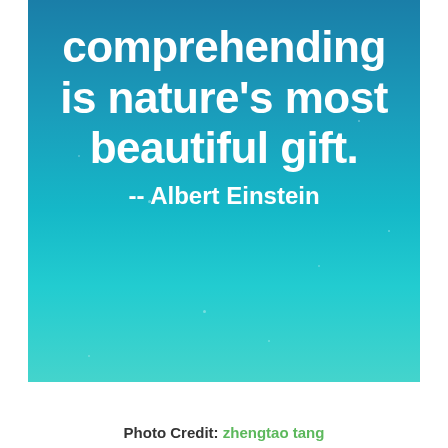[Figure (photo): Blue gradient sky background (dark teal at top fading to lighter cyan/turquoise at bottom) with faint star-like white specks scattered across the image. White bold text overlay reads 'comprehending is nature's most beautiful gift. -- Albert Einstein'.]
Photo Credit: zhengtao tang